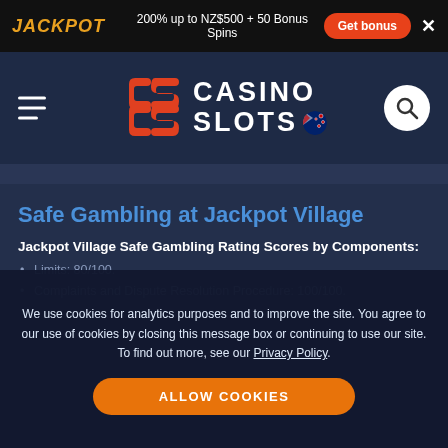JACKPOT | 200% up to NZ$500 + 50 Bonus Spins | Get bonus | ×
[Figure (logo): CasinoSlots.nz logo with CS icon in orange, CASINO SLOTS text in white, and New Zealand flag emoji, plus hamburger menu and search icon]
Safe Gambling at Jackpot Village
Jackpot Village Safe Gambling Rating Scores by Components:
Limits: 80/100.
Complaints and Dispute Resolution Procedure: 100/100.
We use cookies for analytics purposes and to improve the site. You agree to our use of cookies by closing this message box or continuing to use our site. To find out more, see our Privacy Policy.
ALLOW COOKIES